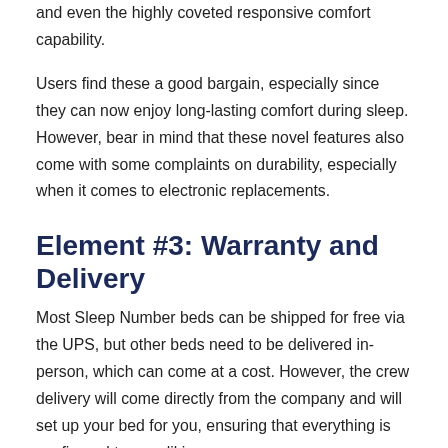and even the highly coveted responsive comfort capability.
Users find these a good bargain, especially since they can now enjoy long-lasting comfort during sleep. However, bear in mind that these novel features also come with some complaints on durability, especially when it comes to electronic replacements.
Element #3: Warranty and Delivery
Most Sleep Number beds can be shipped for free via the UPS, but other beds need to be delivered in-person, which can come at a cost. However, the crew delivery will come directly from the company and will set up your bed for you, ensuring that everything is configured to your liking.
The mattress also comes with a 100-night free trial, but you will need to sleep on one for at least 30 nights before